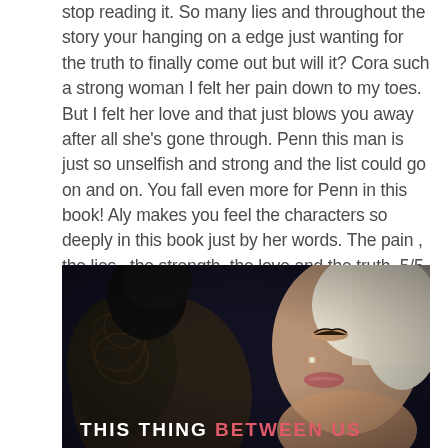stop reading it. So many lies and throughout the story your hanging on a edge just wanting for the truth to finally come out but will it? Cora such a strong woman I felt her pain down to my toes. But I felt her love and that just blows you away after all she's gone through. Penn this man is just so unselfish and strong and the list could go on and on. You fall even more for Penn in this book! Aly makes you feel the characters so deeply in this book just by her words. The pain , the lies , the strength,  the love and the truth. 5/5 truth or lie stars deserves a 10
[Figure (photo): Book cover for 'This Thing Between Us' showing a close-up of a tattooed man and a blonde woman in an intimate pose against a dark background, with the title text at the bottom.]